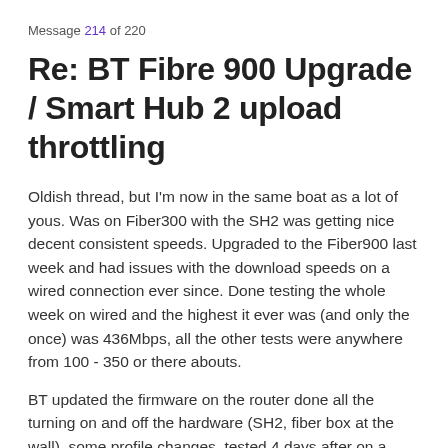Message 214 of 220
Re: BT Fibre 900 Upgrade / Smart Hub 2 upload throttling
Oldish thread, but I'm now in the same boat as a lot of yous. Was on Fiber300 with the SH2 was getting nice decent consistent speeds. Upgraded to the Fiber900 last week and had issues with the download speeds on a wired connection ever since. Done testing the whole week on wired and the highest it ever was (and only the once) was 436Mbps, all the other tests were anywhere from 100 - 350 or there abouts.
BT updated the firmware on the router done all the turning on and off the hardware (SH2, fiber box at the wall), some profile changes, tested 4 days after on a wired connection (cat6 cable, brand new alienware laptop that can easily handle the speeds) still was getting consistently under 450Mbps DL. The Upload was at the 50Mbps mark (and under) for a few days, then something changed and it then kept hitting clos...